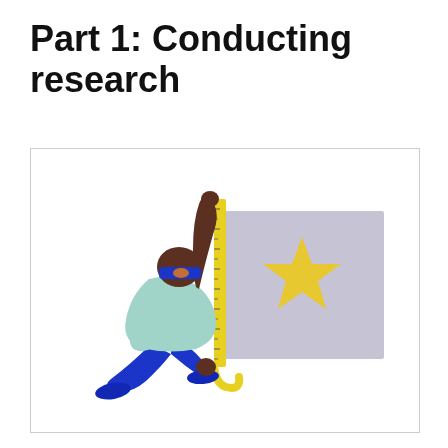Part 1: Conducting research
[Figure (illustration): An illustrated figure of a person kneeling on the ground and measuring a grey square panel with a yellow star on it, using a measuring tape. The person has dark skin, is wearing blue pants and a light blue/mint shirt, and has a blue headband over their eyes. The measuring tape is yellow and hangs from the top of the panel.]